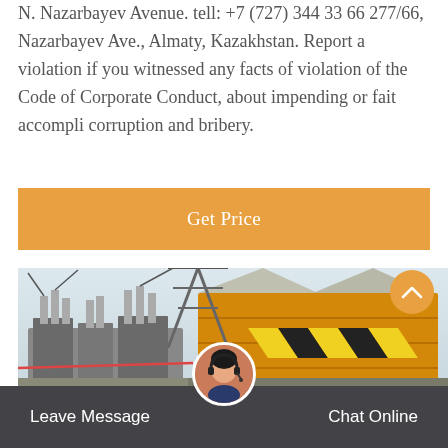N. Nazarbayev Avenue. tell: +7 (727) 344 33 66 277/66, Nazarbayev Ave., Almaty, Kazakhstan. Report a violation if you witnessed any facts of violation of the Code of Corporate Conduct, about impending or fait accompli corruption and bribery.
Get Price
[Figure (photo): Industrial/electrical equipment on the left side and a yellow shipping container with hazard markings on the right side, outdoors at what appears to be a power substation or industrial site.]
Leave Message
Chat Online